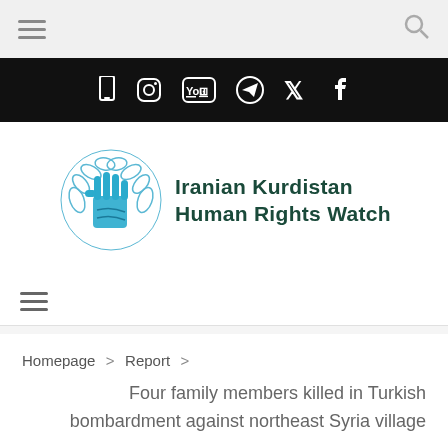Navigation bar with hamburger menu and search icon
[Figure (other): Social media icons bar (phone, Instagram, YouTube, Telegram, Twitter, Facebook) on black background]
[Figure (logo): Iranian Kurdistan Human Rights Watch logo - circular emblem with hand and laurel wreath, teal/green colors, with organization name in dark green text]
Secondary navigation hamburger menu
Homepage > Report >
Four family members killed in Turkish bombardment against northeast Syria village